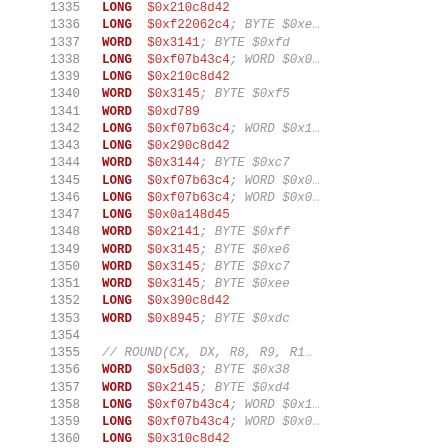Assembly code listing lines 1335-1364
| line | instruction | operands |
| --- | --- | --- |
| 1335 | LONG | $0x210c8d42 |
| 1336 | LONG | $0xf22062c4; BYTE $0xe... |
| 1337 | WORD | $0x3141; BYTE $0xfd |
| 1338 | LONG | $0xf07b43c4; WORD $0x0... |
| 1339 | LONG | $0x210c8d42 |
| 1340 | WORD | $0x3145; BYTE $0xf5 |
| 1341 | WORD | $0xd789 |
| 1342 | LONG | $0xf07b63c4; WORD $0x1... |
| 1343 | LONG | $0x290c8d42 |
| 1344 | WORD | $0x3144; BYTE $0xc7 |
| 1345 | LONG | $0xf07b63c4; WORD $0x0... |
| 1346 | LONG | $0xf07b63c4; WORD $0x0... |
| 1347 | LONG | $0x0a148d45 |
| 1348 | WORD | $0x2141; BYTE $0xff |
| 1349 | WORD | $0x3145; BYTE $0xe6 |
| 1350 | WORD | $0x3145; BYTE $0xc7 |
| 1351 | WORD | $0x3145; BYTE $0xee |
| 1352 | LONG | $0x390c8d42 |
| 1353 | WORD | $0x8945; BYTE $0xdc |
| 1354 |  |  |
| 1355 |  | // ROUND(CX, DX, R8, R9, R1... |
| 1356 | WORD | $0x5d03; BYTE $0x38 |
| 1357 | WORD | $0x2145; BYTE $0xd4 |
| 1358 | LONG | $0xf07b43c4; WORD $0x1... |
| 1359 | LONG | $0xf07b43c4; WORD $0x0... |
| 1360 | LONG | $0x310c8d42 |
| 1361 | LONG | $0x231c8d42 |
| 1362 | LONG | $0xf22862c4; BYTE $0xe... |
| 1363 | WORD | $0x3145; BYTE $0xfd |
| 1364 | LONG | $0xf07b43c4; WORD $0x... |